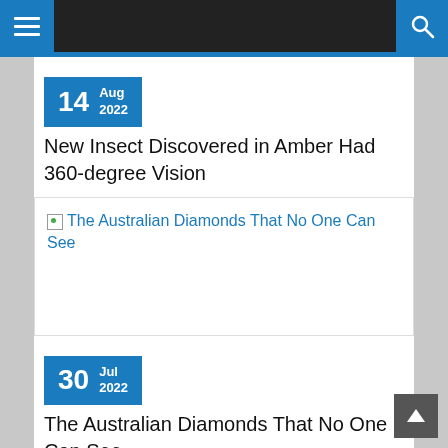Navigation bar with hamburger menu and search icon
[Figure (screenshot): Date badge showing 14 Aug 2022 in blue]
New Insect Discovered in Amber Had 360-degree Vision
[Figure (screenshot): Broken image placeholder linking to: The Australian Diamonds That No One Can See]
[Figure (screenshot): Date badge showing 30 Jul 2022 in blue]
The Australian Diamonds That No One Can See
[Figure (screenshot): Broken image placeholder linking to: A Wasp, Flower, And Fly Trapped in Amber Reveal 30-Million-Year Old Microcosm]